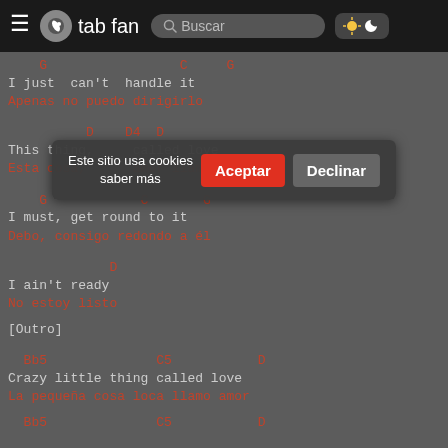tab fan | Buscar
G                C    G
I just  can't  handle it
Apenas no puedo dirigirlo
D   D4  D
saber más
This thing,      called love
Esta cosa,       amor llamado
G             C         G
I must, get round to it
Debo, consigo redondo a él
D
I ain't ready
No estoy listo
[Outro]
Bb5              C5             D
Crazy little thing called love
La pequeña cosa loca llamo amor
Bb5              C5             D
Este sitio usa cookies
saber más
Aceptar
Declinar